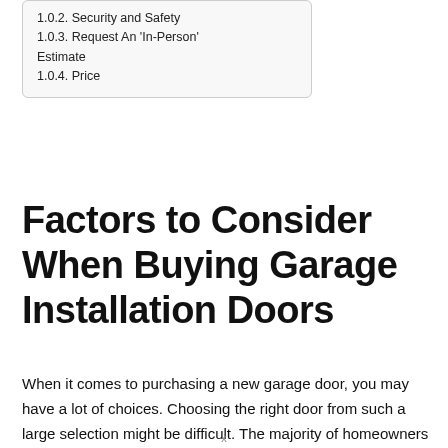1.0.2. Security and Safety
1.0.3. Request An 'In-Person' Estimate
1.0.4. Price
Factors to Consider When Buying Garage Installation Doors
When it comes to purchasing a new garage door, you may have a lot of choices. Choosing the right door from such a large selection might be difficult. The majority of homeowners begin with a budget, while others consider the quality of the materials. Whether you're thinking about the cost or the
x